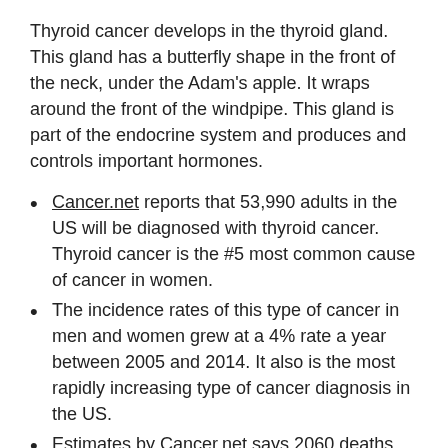Thyroid cancer develops in the thyroid gland. This gland has a butterfly shape in the front of the neck, under the Adam's apple. It wraps around the front of the windpipe. This gland is part of the endocrine system and produces and controls important hormones.
Cancer.net reports that 53,990 adults in the US will be diagnosed with thyroid cancer. Thyroid cancer is the #5 most common cause of cancer in women.
The incidence rates of this type of cancer in men and women grew at a 4% rate a year between 2005 and 2014. It also is the most rapidly increasing type of cancer diagnosis in the US.
Estimates by Cancer.net says 2060 deaths from thyroid cancer this year. Women are three times more likely to get the disease than men.
The following chart shows the plots of glyphosate usage